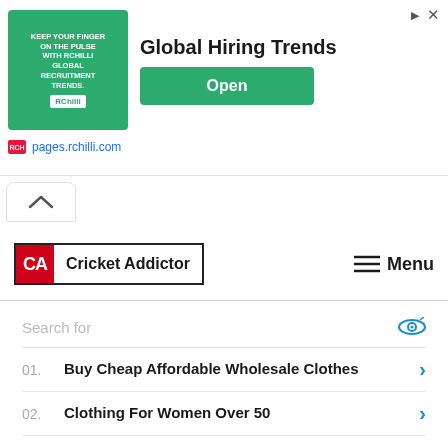[Figure (screenshot): Advertisement banner for RChilli Global Hiring Trends with green box, title, and Open button]
pages.rchilli.com
[Figure (other): Scroll up chevron tab]
[Figure (logo): Cricket Addictor logo with CA red square and bordered text]
Menu
Search for
01. Buy Cheap Affordable Wholesale Clothes
02. Clothing For Women Over 50
03. Lipsticks For Older Women
04. Modern Tunic Tops
05. Fashionable Clothing For Older Women